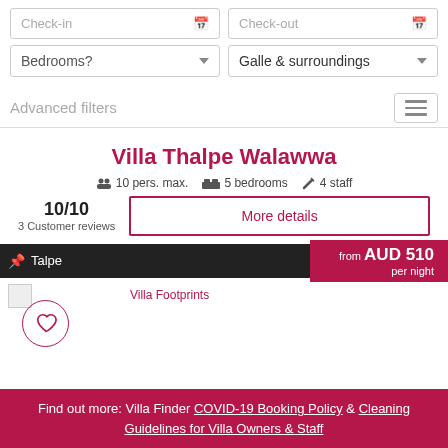Check-in
Check-out
Bedrooms?
Galle & surroundings
Advanced filters
Villa Thalpe Walawwa
10 pers. max.  5 bedrooms  4 staff
10/10
3 Customer reviews
More details
Talpe
Villa Footprints
from AUD 510 per night
Find out more: Villa Finder COVID-19 Booking Policy & Cleaning Guidelines for Villa Owners & Staff